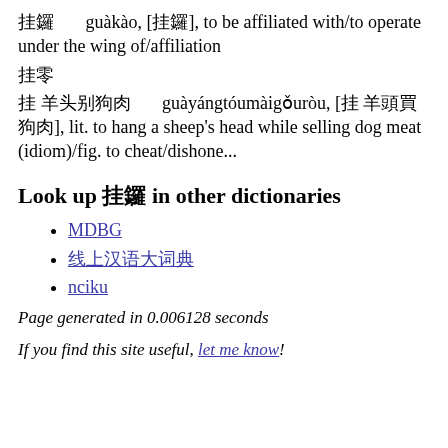挂靠 guàkào, [掛靠], to be affiliated with/to operate under the wing of/affiliation
挂零
挂羊头卖狗肉 guàyángtóumàigǒuròu, [掛羊頭賣狗肉], lit. to hang a sheep's head while selling dog meat (idiom)/fig. to cheat/dishone...
Look up 挂靠 in other dictionaries
MDBG
线上汉语大词典
nciku
Page generated in 0.006128 seconds
If you find this site useful, let me know!